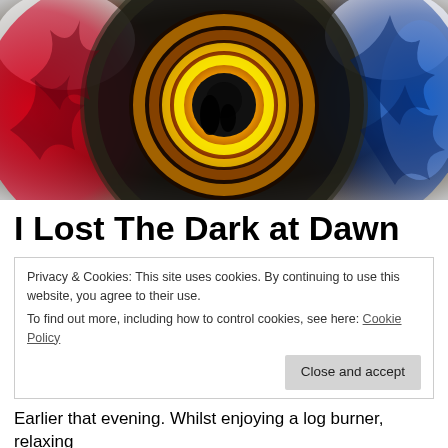[Figure (illustration): Abstract swirling circular artwork resembling an eye or planet, with vivid red on the left, yellow and orange spiraling center, dark silhouettes, and blue on the right against a light background.]
I Lost The Dark at Dawn
Privacy & Cookies: This site uses cookies. By continuing to use this website, you agree to their use.
To find out more, including how to control cookies, see here: Cookie Policy
[Close and accept]
Earlier that evening. Whilst enjoying a log burner, relaxing